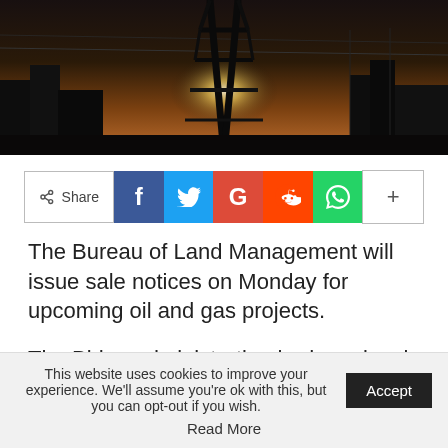[Figure (photo): Industrial/oil pump structure silhouetted against a bright sky at dusk or dawn, with buildings and utility lines visible in background.]
[Figure (infographic): Social sharing bar with Share button, Facebook, Twitter, Google+, Reddit, WhatsApp, and a plus/more button.]
The Bureau of Land Management will issue sale notices on Monday for upcoming oil and gas projects.
The Biden administration had previously planned to hold the lease sale, but paused it after a judge
This website uses cookies to improve your experience. We'll assume you're ok with this, but you can opt-out if you wish. Read More